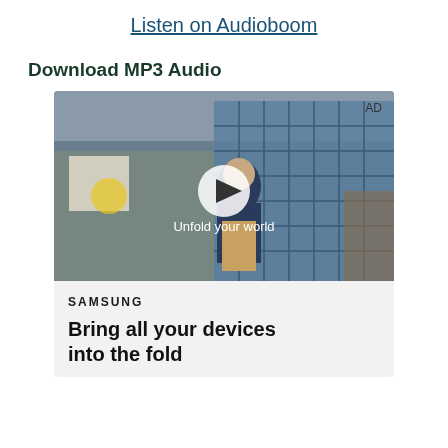Listen on Audioboom
Download MP3 Audio
[Figure (screenshot): Samsung advertisement video player showing a young man standing in a cafeteria with blue tile wall background. A play button is centered over the image with text 'Unfold your world'. Below the video is the Samsung logo and tagline 'Bring all your devices into the fold'. An AD label appears in the top right corner.]